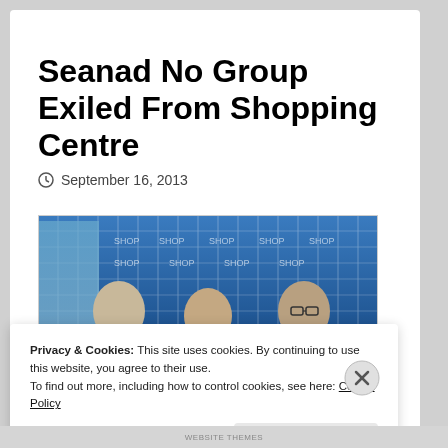Seanad No Group Exiled From Shopping Centre
September 16, 2013
[Figure (photo): Three people standing in front of a blue patterned backdrop. A man on the left with grey hair, a woman in the centre, and a man with glasses on the right wearing a dark jacket.]
Privacy & Cookies: This site uses cookies. By continuing to use this website, you agree to their use.
To find out more, including how to control cookies, see here: Cookie Policy
Close and accept